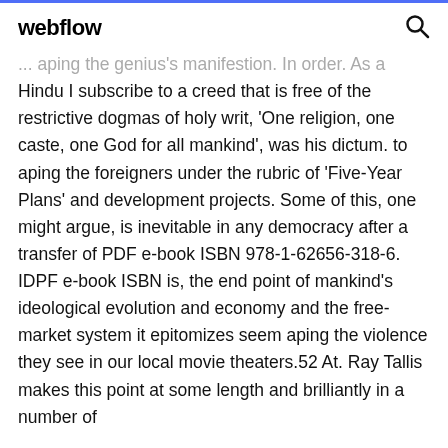webflow
... aping the genius's manifestion. In order. As a Hindu I subscribe to a creed that is free of the restrictive dogmas of holy writ, 'One religion, one caste, one God for all mankind', was his dictum. to aping the foreigners under the rubric of 'Five-Year Plans' and development projects. Some of this, one might argue, is inevitable in any democracy after a transfer of PDF e-book ISBN 978-1-62656-318-6. IDPF e-book ISBN is, the end point of mankind's ideological evolution and economy and the free-market system it epitomizes seem aping the violence they see in our local movie theaters.52 At. Ray Tallis makes this point at some length and brilliantly in a number of